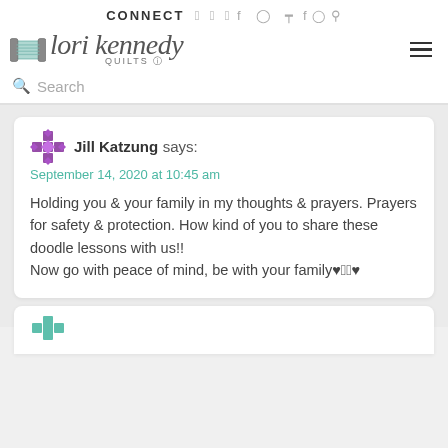CONNECT
[Figure (logo): Lori Kennedy Quilts logo with spool icon]
Search
Jill Katzung says:
September 14, 2020 at 10:45 am

Holding you & your family in my thoughts & prayers. Prayers for safety & protection. How kind of you to share these doodle lessons with us!!
Now go with peace of mind, be with your family♥🙏🙏♥